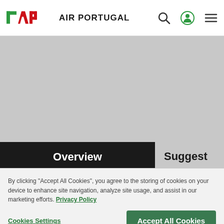TAP AIR PORTUGAL
[Figure (screenshot): Gray banner/hero image area]
Overview
Suggest
Sao Paulo
Founded by Jesuits, "Sampa" today is an infinite landscape of buildings and chaos. It's worth seeing it all from the peak of Jaraguá and then descending into the movement. Book a flight to Sao Paulo (Congonhas, Guarulhos) and...
Enter the cosmopolitan rhythm
The feeling of this city is palpable on the Avenida Paulista, one of the main arteries, where the Museum of Art is loc...
By clicking "Accept All Cookies", you agree to the storing of cookies on your device to enhance site navigation, analyze site usage, and assist in our marketing efforts. Privacy Policy
Cookies Settings | Accept All Cookies